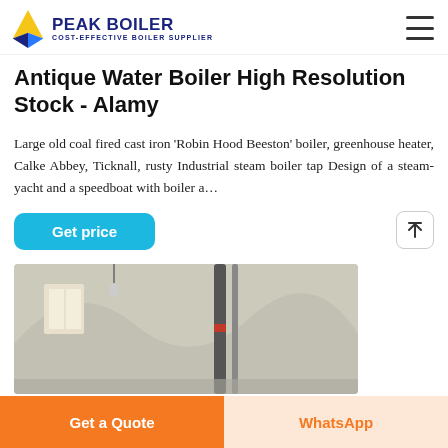PEAK BOILER COST-EFFECTIVE BOILER SUPPLIER
Antique Water Boiler High Resolution Stock - Alamy
Large old coal fired cast iron 'Robin Hood Beeston' boiler, greenhouse heater, Calke Abbey, Ticknall, rusty Industrial steam boiler tap Design of a steam-yacht and a speedboat with boiler a…
[Figure (screenshot): Interior photo showing industrial ceiling with pipes and structural elements, partially visible]
Get a Quote | WhatsApp